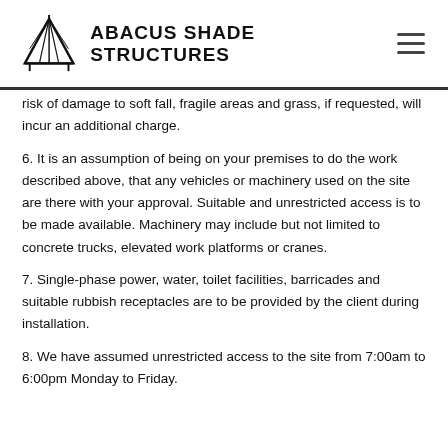ABACUS SHADE STRUCTURES
risk of damage to soft fall, fragile areas and grass, if requested, will incur an additional charge.
6. It is an assumption of being on your premises to do the work described above, that any vehicles or machinery used on the site are there with your approval. Suitable and unrestricted access is to be made available. Machinery may include but not limited to concrete trucks, elevated work platforms or cranes.
7. Single-phase power, water, toilet facilities, barricades and suitable rubbish receptacles are to be provided by the client during installation.
8. We have assumed unrestricted access to the site from 7:00am to 6:00pm Monday to Friday. We have from and we are not to and to its the